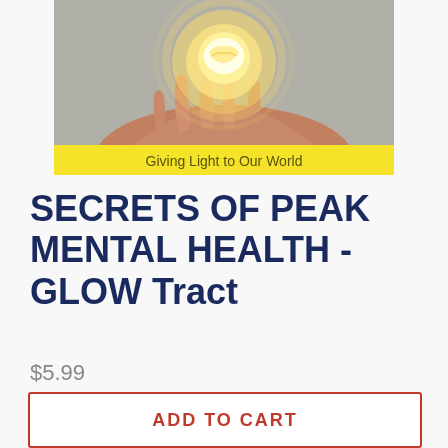[Figure (illustration): A hand holding a glowing brain-like orb with yellow light. Below the photo is a yellow banner with the text 'Giving Light to Our World' in dark olive/brown text.]
SECRETS OF PEAK MENTAL HEALTH - GLOW Tract
$5.99
ADD TO CART